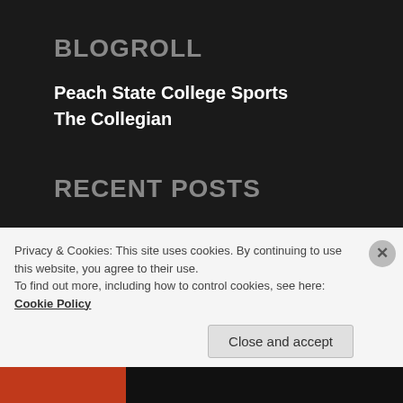BLOGROLL
Peach State College Sports
The Collegian
RECENT POSTS
For Edward, Billie and “Junior”
The final stretch begins: 365 days, 6 classes and 3 semesters
Privacy & Cookies: This site uses cookies. By continuing to use this website, you agree to their use.
To find out more, including how to control cookies, see here: Cookie Policy
Close and accept